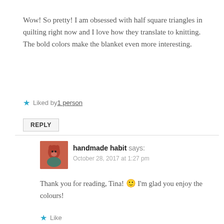Wow! So pretty! I am obsessed with half square triangles in quilting right now and I love how they translate to knitting. The bold colors make the blanket even more interesting.
★ Liked by 1 person
REPLY
handmade habit says:
October 28, 2017 at 1:27 pm
Thank you for reading, Tina! 🙂 I'm glad you enjoy the colours!
★ Like
REPLY